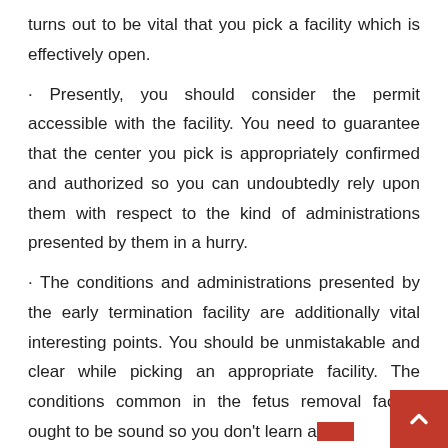turns out to be vital that you pick a facility which is effectively open.
· Presently, you should consider the permit accessible with the facility. You need to guarantee that the center you pick is appropriately confirmed and authorized so you can undoubtedly rely upon them with respect to the kind of administrations presented by them in a hurry.
· The conditions and administrations presented by the early termination facility are additionally vital interesting points. You should be unmistakable and clear while picking an appropriate facility. The conditions common in the fetus removal facility ought to be sound so you don't learn about